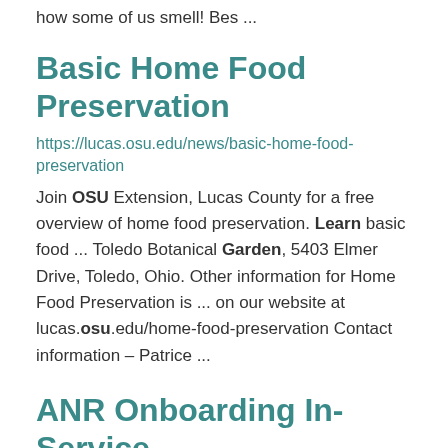how some of us smell! Bes ...
Basic Home Food Preservation
https://lucas.osu.edu/news/basic-home-food-preservation
Join OSU Extension, Lucas County for a free overview of home food preservation. Learn basic food ... Toledo Botanical Garden, 5403 Elmer Drive, Toledo, Ohio. Other information for Home Food Preservation is ... on our website at lucas.osu.edu/home-food-preservation Contact information – Patrice ...
ANR Onboarding In-Service